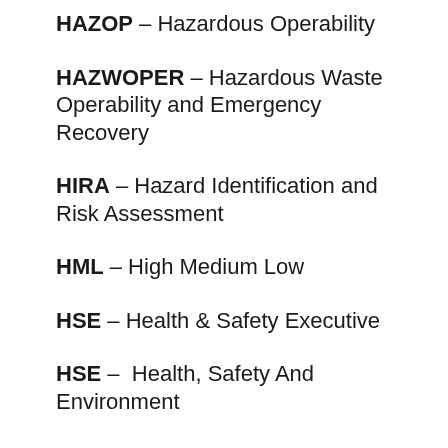HAZOP – Hazardous Operability
HAZWOPER – Hazardous Waste Operability and Emergency Recovery
HIRA – Hazard Identification and Risk Assessment
HML – High Medium Low
HSE – Health & Safety Executive
HSE –  Health, Safety And Environment